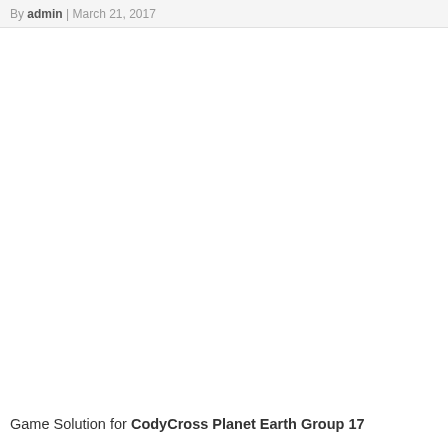By admin | March 21, 2017
Game Solution for CodyCross Planet Earth Group 17